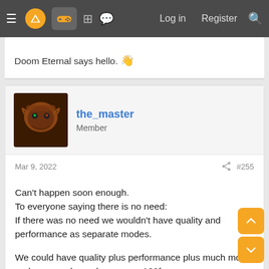≡  [logo]  [gamepad icon]  [grid icon]  [chat icon]  Log in  Register  [search]
Doom Eternal says hello. 👋
the_master
Member
Mar 9, 2022   #255
Can't happen soon enough.
To everyone saying there is no need:
If there was no need we wouldn't have quality and performance as separate modes.

We could have quality plus performance plus much more and we can always have more 120fps